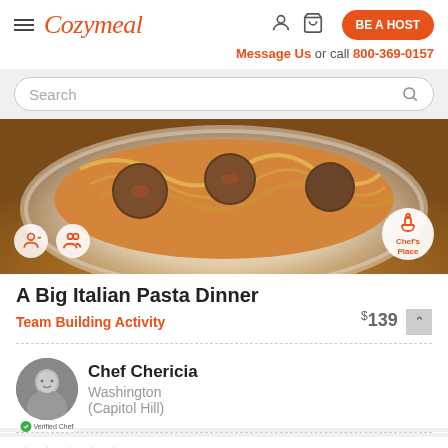Cozymeal — navigation bar with hamburger menu, logo, user icon, cart icon, BE A HOST button
Message Us or call 800-369-0157
Search
[Figure (photo): A bowl of spaghetti pasta with meatballs in tomato sauce, served in a white ceramic bowl on a wooden table. Two icon badges (person icon, people icon) at bottom left. A circular Chef's Place badge at bottom right.]
A Big Italian Pasta Dinner
Team Building Activity  $139
Chef Chericia
Washington
(Capitol Hill)
266 reviews